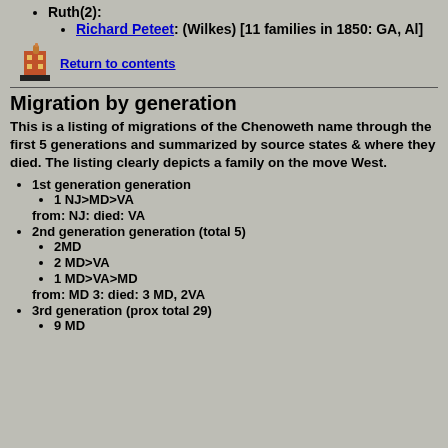Ruth(2):
Richard Peteet: (Wilkes) [11 families in 1850: GA, Al]
Return to contents
Migration by generation
This is a listing of migrations of the Chenoweth name through the first 5 generations and summarized by source states & where they died. The listing clearly depicts a family on the move West.
1st generation generation
1 NJ>MD>VA
from: NJ: died: VA
2nd generation generation (total 5)
2MD
2 MD>VA
1 MD>VA>MD
from: MD 3: died: 3 MD, 2VA
3rd generation (prox total 29)
9 MD